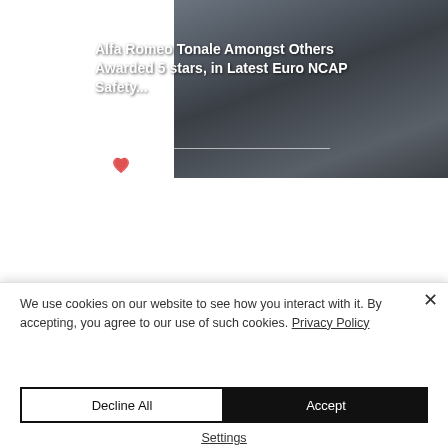[Figure (photo): Dark image of race cars on a track, with Euro NCAP branding visible, serving as background for an article card]
Alfa Romeo Tonale Amongst Others Awarded 5 stars, in Latest Euro NCAP Safety...
[Figure (photo): Dark image of trees from a low angle, serving as background for an article card dated Jul 28]
We use cookies on our website to see how you interact with it. By accepting, you agree to our use of such cookies. Privacy Policy
Decline All
Accept
Settings